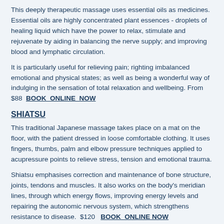This deeply therapeutic massage uses essential oils as medicines. Essential oils are highly concentrated plant essences - droplets of healing liquid which have the power to relax, stimulate and rejuvenate by aiding in balancing the nerve supply; and improving blood and lymphatic circulation.
It is particularly useful for relieving pain; righting imbalanced emotional and physical states; as well as being a wonderful way of indulging in the sensation of total relaxation and wellbeing. From $88  BOOK ONLINE NOW
SHIATSU
This traditional Japanese massage takes place on a mat on the floor, with the patient dressed in loose comfortable clothing. It uses fingers, thumbs, palm and elbow pressure techniques applied to acupressure points to relieve stress, tension and emotional trauma.
Shiatsu emphasises correction and maintenance of bone structure, joints, tendons and muscles. It also works on the body's meridian lines, through which energy flows, improving energy levels and repairing the autonomic nervous system, which strengthens resistance to disease.  $120   BOOK ONLINE NOW
PREGNANCY REMEDIAL MASSAGE